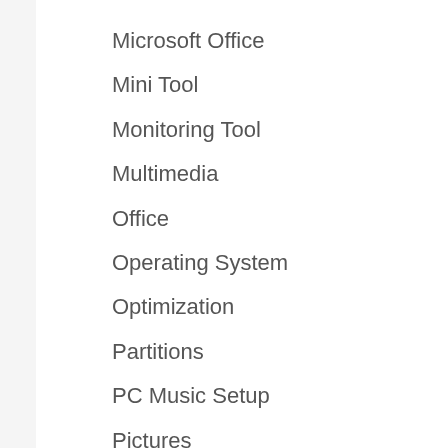Microsoft Office
Mini Tool
Monitoring Tool
Multimedia
Office
Operating System
Optimization
Partitions
PC Music Setup
Pictures
Print